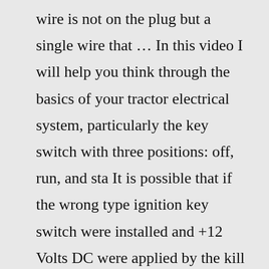wire is not on the plug but a single wire that … In this video I will help you think through the basics of your tractor electrical system, particularly the key switch with three positions: off, run, and sta It is possible that if the wrong type ignition key switch were installed and +12 Volts DC were applied by the kill switch wire instead of a ground that the Charge Coil may burn up 9A81487 1988 Terry Resort Travel